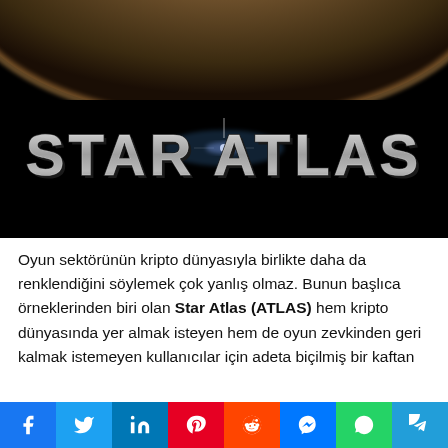[Figure (photo): Star Atlas game promotional image with large silver 3D text 'STAR ATLAS' against a dark space background with a planet horizon visible at the top]
Oyun sektörünün kripto dünyasıyla birlikte daha da renklendiğini söylemek çok yanlış olmaz. Bunun başlıca örneklerinden biri olan Star Atlas (ATLAS) hem kripto dünyasında yer almak isteyen hem de oyun zevkinden geri kalmak istemeyen kullanıcılar için adeta biçilmiş bir kaftan
[Figure (infographic): Social media share buttons row: Facebook (blue), Twitter (light blue), LinkedIn (dark blue), Pinterest (red), Reddit (orange-red), Messenger (blue), WhatsApp (green), Telegram (blue)]